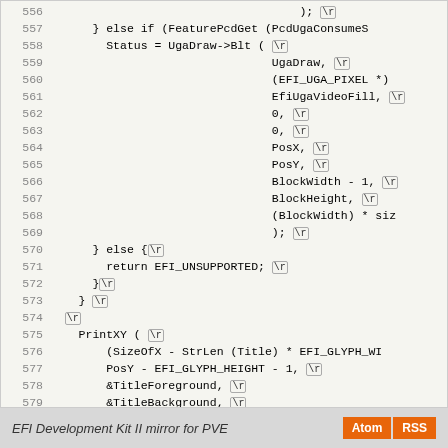[Figure (screenshot): Source code viewer showing lines 556-584 of a C file related to EFI/UGA graphics, with line numbers on the left, code in monospace font, and \r markers shown as inline bordered boxes.]
EFI Development Kit II mirror for PVE  [Atom] [RSS]